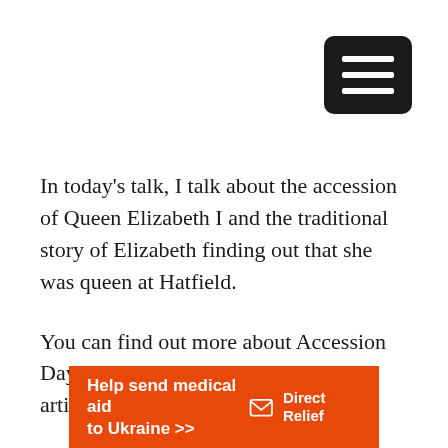[Figure (other): Black rounded rectangle hamburger menu button with three white horizontal lines]
In today's talk, I talk about the accession of Queen Elizabeth I and the traditional story of Elizabeth finding out that she was queen at Hatfield.
You can find out more about Accession Day and how it was celebrated in my article here.
[Figure (other): Orange advertisement banner reading 'Help send medical aid to Ukraine >>' with Direct Relief logo on the right]